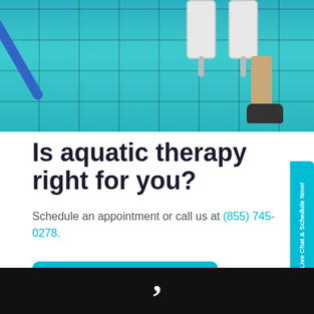[Figure (photo): Aerial view of a person standing in a swimming pool doing aquatic therapy exercises, holding water dumbbells, with a blue pool noodle visible]
Is aquatic therapy right for you?
Schedule an appointment or call us at (855) 745-0278.
Schedule Now >
Click to Live Chat & Schedule Now!